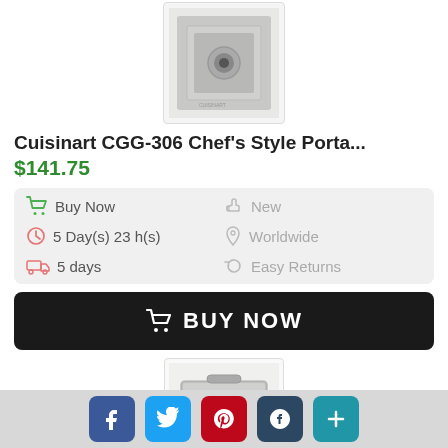[Figure (photo): Product photo of Cuisinart portable grill in box, seen from above, silver/chrome finish]
Cuisinart CGG-306 Chef's Style Porta...
$141.75
Buy Now
New
5 Day(s) 23 h(s)
Worldwide
5 days
Easy Returns
BUY NOW
[Figure (photo): Product photo of Cuisinart portable grill, silver/stainless, closed lid view from angle]
Facebook Twitter Pinterest Tumblr More